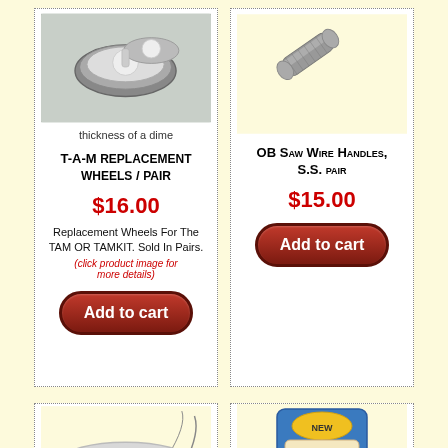[Figure (photo): Photo of TAM replacement wheels product - rounded wheel objects on carpet-like surface]
thickness of a dime
T-A-M REPLACEMENT WHEELS / PAIR
$16.00
Replacement Wheels For The TAM OR TAMKIT. Sold In Pairs.
(click product image for more details)
Add to cart
[Figure (photo): Photo of OB Saw Wire Handles, S.S. - metal cylindrical handle]
OB Saw Wire Handles, S.S. pair
$15.00
Add to cart
[Figure (photo): Photo of wire spool/roll]
[Figure (photo): Photo of Booda Bone product in blue packaging]